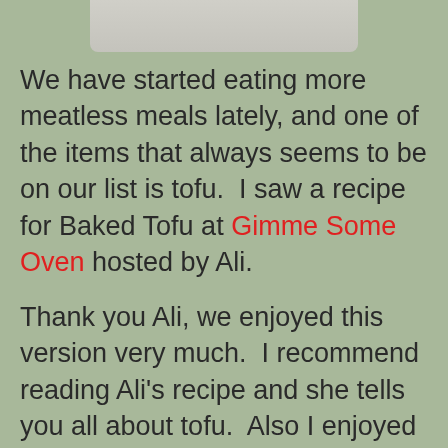[Figure (photo): Partial view of a plate with food, cropped at top of page]
We have started eating more meatless meals lately, and one of the items that always seems to be on our list is tofu.  I saw a recipe for Baked Tofu at Gimme Some Oven hosted by Ali.
Thank you Ali, we enjoyed this version very much.  I recommend reading Ali's recipe and she tells you all about tofu.  Also I enjoyed looking at all the other recipes she has on her food blog.
Baked Tofu